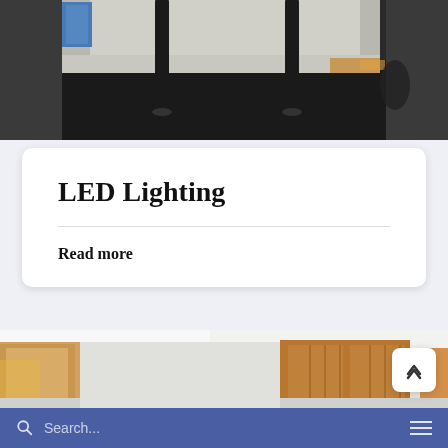[Figure (photo): Interior of a large space under construction or renovation, showing black floor covering, white walls/columns with black vertical poles/pillars, and construction materials visible in the background]
LED Lighting
Read more
[Figure (photo): Interior hallway or corridor of a building with white ceiling featuring recessed lighting, white walls, and wooden doors visible on either side]
Search...